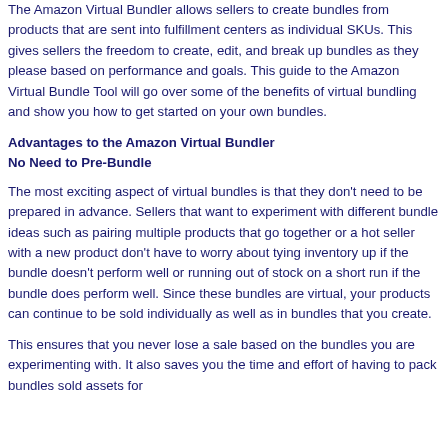The Amazon Virtual Bundler allows sellers to create bundles from products that are sent into fulfillment centers as individual SKUs. This gives sellers the freedom to create, edit, and break up bundles as they please based on performance and goals. This guide to the Amazon Virtual Bundle Tool will go over some of the benefits of virtual bundling and show you how to get started on your own bundles.
Advantages to the Amazon Virtual Bundler
No Need to Pre-Bundle
The most exciting aspect of virtual bundles is that they don't need to be prepared in advance. Sellers that want to experiment with different bundle ideas such as pairing multiple products that go together or a hot seller with a new product don't have to worry about tying inventory up if the bundle doesn't perform well or running out of stock on a short run if the bundle does perform well. Since these bundles are virtual, your products can continue to be sold individually as well as in bundles that you create.
This ensures that you never lose a sale based on the bundles you are experimenting with. It also saves you the time and effort of having to pack bundles sold assets for